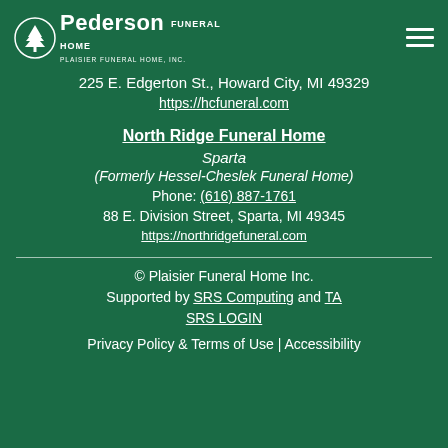[Figure (logo): Pederson Funeral Home logo with tree icon and text 'PLAISIER FUNERAL HOME, INC.']
225 E. Edgerton St., Howard City, MI 49329
https://hcfuneral.com
North Ridge Funeral Home
Sparta
(Formerly Hessel-Cheslek Funeral Home)
Phone: (616) 887-1761
88 E. Division Street, Sparta, MI 49345
https://northridgefuneral.com
© Plaisier Funeral Home Inc.
Supported by SRS Computing and TA
SRS LOGIN
Privacy Policy & Terms of Use | Accessibility